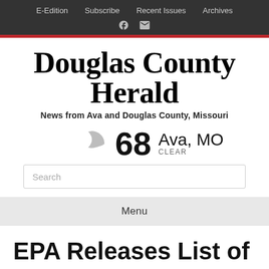E-Edition  Subscribe  Recent Issues  Archives
Douglas County Herald
News from Ava and Douglas County, Missouri
68  Ava, MO  CLEAR
Search
Menu
EPA Releases List of